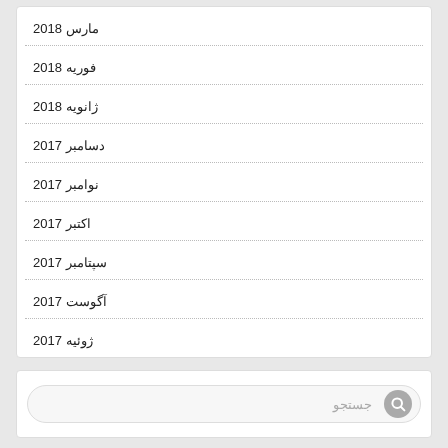مارس 2018
فوریه 2018
ژانویه 2018
دسامبر 2017
نوامبر 2017
اکتبر 2017
سپتامبر 2017
آگوست 2017
ژوئیه 2017
جستجو